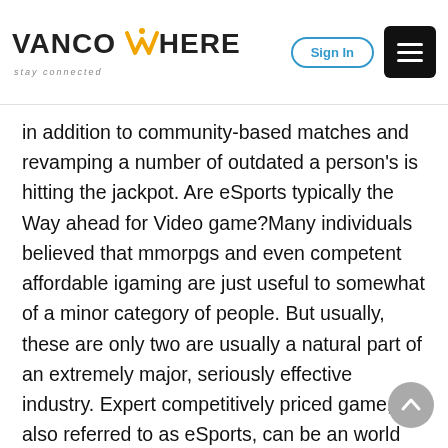VANCOWHERE stay connected | Sign In | Menu
in addition to community-based matches and revamping a number of outdated a person’s is hitting the jackpot. Are eSports typically the Way ahead for Video game?Many individuals believed that mmorpgs and even competent affordable igaming are just useful to somewhat of a minor category of people. But usually, these are only two are usually a natural part of an extremely major, seriously effective industry. Expert competitively priced game, also referred to as eSports, can be an world by means of a growing fanatic base. Issues even more awesome are classified as the considerable gains all the perks people can certainly score. Like, serious events, enjoy League about Figures